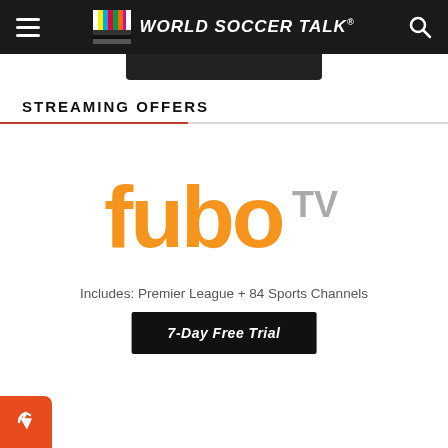World Soccer Talk
STREAMING OFFERS
[Figure (logo): fuboTV logo in orange with gray TV text]
Includes: Premier League + 84 Sports Channels
7-Day Free Trial